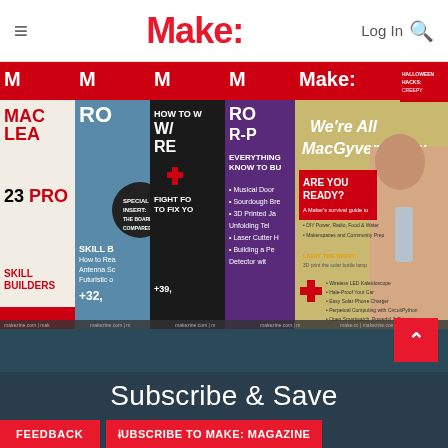≡  Make:  Log In 🔍
[Figure (photo): Multiple issues of Make: magazine fanned out showing various covers including 'We're All MacGyvers Now', robotics, electronics, and maker topics]
Subscribe & Save
FEEDBACK   SUBSCRIBE TO MAKE: MAGAZINE